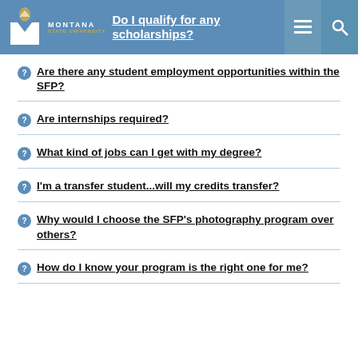Do I qualify for any scholarships?
Are there any student employment opportunities within the SFP?
Are internships required?
What kind of jobs can I get with my degree?
I'm a transfer student...will my credits transfer?
Why would I choose the SFP's photography program over others?
How do I know your program is the right one for me?